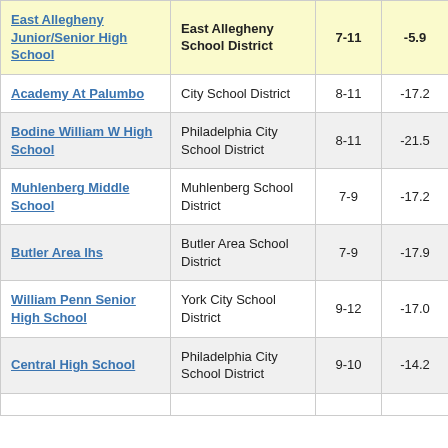| School | District | Grades | Change |  |
| --- | --- | --- | --- | --- |
| East Allegheny Junior/Senior High School | East Allegheny School District | 7-11 | -5.9 | 3 |
| Academy At Palumbo | City School District | 8-11 | -17.2 |  |
| Bodine William W High School | Philadelphia City School District | 8-11 | -21.5 |  |
| Muhlenberg Middle School | Muhlenberg School District | 7-9 | -17.2 |  |
| Butler Area lhs | Butler Area School District | 7-9 | -17.9 |  |
| William Penn Senior High School | York City School District | 9-12 | -17.0 |  |
| Central High School | Philadelphia City School District | 9-10 | -14.2 |  |